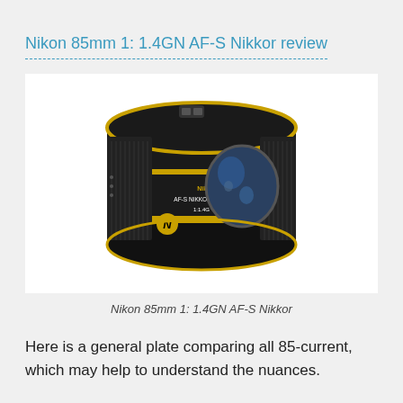Nikon 85mm 1: 1.4GN AF-S Nikkor review
[Figure (photo): Photo of a Nikon 85mm 1:1.4GN AF-S Nikkor camera lens, black with gold/yellow accent band, shown at a slight angle revealing the front element and side label.]
Nikon 85mm 1: 1.4GN AF-S Nikkor
Here is a general plate comparing all 85-current, which may help to understand the nuances.